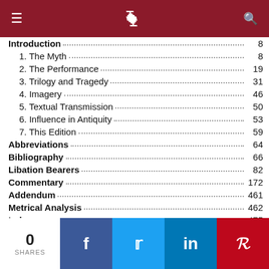Navigation bar with menu, logo, and search icons
Introduction .... 8
1. The Myth .... 8
2. The Performance .... 19
3. Trilogy and Tragedy .... 31
4. Imagery .... 46
5. Textual Transmission .... 50
6. Influence in Antiquity .... 53
7. This Edition .... 59
Abbreviations .... 64
Bibliography .... 66
Libation Bearers .... 82
Commentary .... 172
Addendum .... 461
Metrical Analysis .... 462
Index .... 475
0 SHARES | Facebook | Twitter | LinkedIn | Pinterest